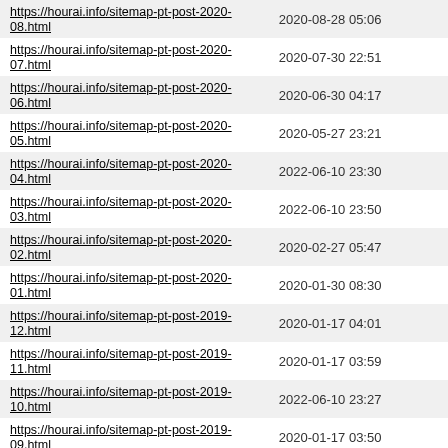| URL | Last Modified |
| --- | --- |
| https://hourai.info/sitemap-pt-post-2020-08.html | 2020-08-28 05:06 |
| https://hourai.info/sitemap-pt-post-2020-07.html | 2020-07-30 22:51 |
| https://hourai.info/sitemap-pt-post-2020-06.html | 2020-06-30 04:17 |
| https://hourai.info/sitemap-pt-post-2020-05.html | 2020-05-27 23:21 |
| https://hourai.info/sitemap-pt-post-2020-04.html | 2022-06-10 23:30 |
| https://hourai.info/sitemap-pt-post-2020-03.html | 2022-06-10 23:50 |
| https://hourai.info/sitemap-pt-post-2020-02.html | 2020-02-27 05:47 |
| https://hourai.info/sitemap-pt-post-2020-01.html | 2020-01-30 08:30 |
| https://hourai.info/sitemap-pt-post-2019-12.html | 2020-01-17 04:01 |
| https://hourai.info/sitemap-pt-post-2019-11.html | 2020-01-17 03:59 |
| https://hourai.info/sitemap-pt-post-2019-10.html | 2022-06-10 23:27 |
| https://hourai.info/sitemap-pt-post-2019-09.html | 2020-01-17 03:50 |
| https://hourai.info/sitemap-pt-post-2019-08.html | 2019-08-28 01:06 |
| https://hourai.info/sitemap-pt-post-2019-07.html | 2019-07-31 08:40 |
| https://hourai.info/sitemap-pt-post-2019-05.html | 2019-05-21 23:16 |
| https://hourai.info/sitemap-pt-post-2019-04.html | 2019-04-26 00:41 |
| https://hourai.info/sitemap-pt-post-2019-03.html | 2019-03-28 00:18 |
| https://hourai.info/sitemap-pt-post-2019-02.html | 2019-02-26 01:05 |
| https://hourai.info/sitemap-pt-post-2019-01.html | 2019-01-30 10:23 |